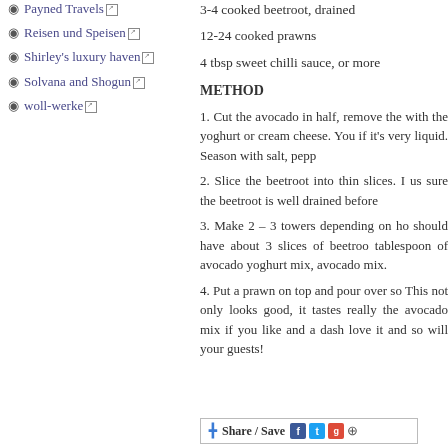Payned Travels
Reisen und Speisen
Shirley's luxury haven
Solvana and Shogun
woll-werke
3-4 cooked beetroot, drained
12-24 cooked prawns
4 tbsp sweet chilli sauce, or more
METHOD
1. Cut the avocado in half, remove the with the yoghurt or cream cheese. You if it's very liquid. Season with salt, pepp
2. Slice the beetroot into thin slices. I us sure the beetroot is well drained before
3. Make 2 – 3 towers depending on ho should have about 3 slices of beetroo tablespoon of avocado yoghurt mix, avocado mix.
4. Put a prawn on top and pour over so This not only looks good, it tastes really the avocado mix if you like and a dash love it and so will your guests!